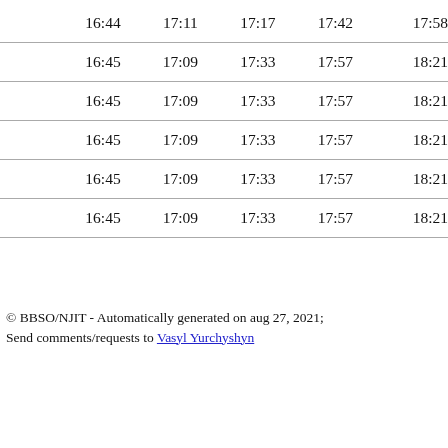|  | 16:44 | 17:11 | 17:17 | 17:42 | 17:58 |
|  | 16:45 | 17:09 | 17:33 | 17:57 | 18:21 |
|  | 16:45 | 17:09 | 17:33 | 17:57 | 18:21 |
|  | 16:45 | 17:09 | 17:33 | 17:57 | 18:21 |
|  | 16:45 | 17:09 | 17:33 | 17:57 | 18:21 |
|  | 16:45 | 17:09 | 17:33 | 17:57 | 18:21 |
© BBSO/NJIT - Automatically generated on aug 27, 2021; Send comments/requests to Vasyl Yurchyshyn